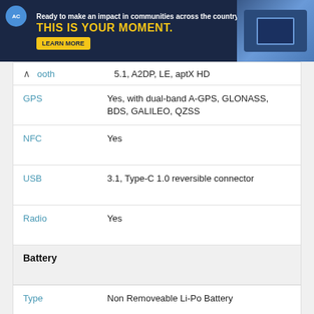[Figure (photo): AmeriCorps advertisement banner with dark navy background, yellow text 'THIS IS YOUR MOMENT.', white text 'Ready to make an impact in communities across the country?', a LEARN MORE button, and a photo of people at computers on the right side.]
| Feature | Value |
| --- | --- |
| Bluetooth (collapsed) | 5.1, A2DP, LE, aptX HD |
| GPS | Yes, with dual-band A-GPS, GLONASS, BDS, GALILEO, QZSS |
| NFC | Yes |
| USB | 3.1, Type-C 1.0 reversible connector |
| Radio | Yes |
| Battery (section header) |  |
| Type | Non Removeable Li-Po Battery |
| Capacity | 5000 mAh |
| Fast Charger | Fast charging 65W |
| Others (section header) |  |
Best Price of Xiaomi Redmi K60s Pro in Norway is N/A as of August 31, 2022